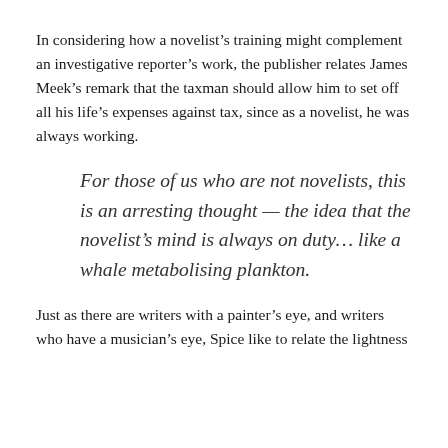In considering how a novelist’s training might complement an investigative reporter’s work, the publisher relates James Meek’s remark that the taxman should allow him to set off all his life’s expenses against tax, since as a novelist, he was always working.
For those of us who are not novelists, this is an arresting thought — the idea that the novelist’s mind is always on duty… like a whale metabolising plankton.
Just as there are writers with a painter’s eye, and writers who have a musician’s eye, Spice like to relate the lightness